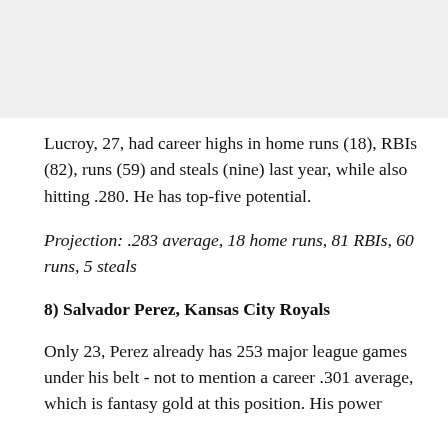[Figure (photo): Image placeholder area at top of page, light gray background]
Lucroy, 27, had career highs in home runs (18), RBIs (82), runs (59) and steals (nine) last year, while also hitting .280. He has top-five potential.
Projection: .283 average, 18 home runs, 81 RBIs, 60 runs, 5 steals
8) Salvador Perez, Kansas City Royals
Only 23, Perez already has 253 major league games under his belt - not to mention a career .301 average, which is fantasy gold at this position. His power